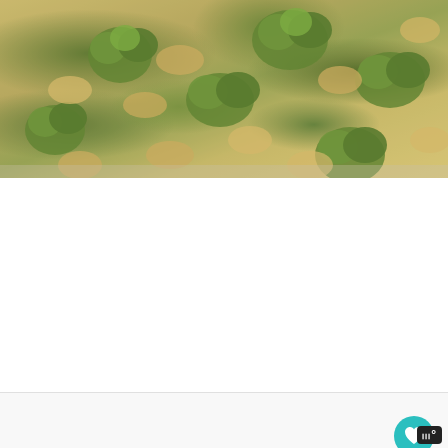[Figure (photo): Close-up overhead photo of tortellini pasta mixed with broccoli florets in a creamy cheese sauce, in a baking dish]
[Figure (infographic): UI elements: heart/favorite button (teal circle with heart icon), share button (white circle with share icon), and a 'What's Next' card showing Beef and Broccoli Stir... with a food thumbnail]
[Figure (infographic): Advertisement banner: Operation Gratitude — SAY THANK YOU TO DEPLOYED TROOPS, with patriotic imagery and cartoon soldier]